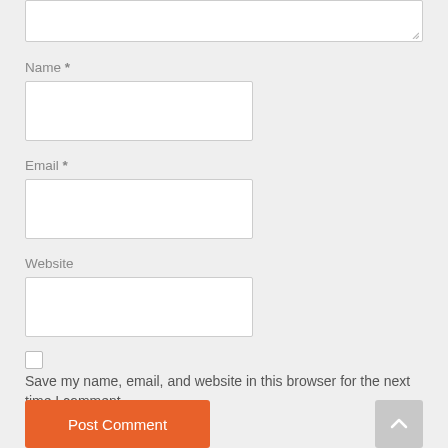[Figure (screenshot): Partial textarea input box at the top of the page]
Name *
[Figure (screenshot): Name input field (empty text input box)]
Email *
[Figure (screenshot): Email input field (empty text input box)]
Website
[Figure (screenshot): Website input field (empty text input box)]
[Figure (screenshot): Checkbox (unchecked)]
Save my name, email, and website in this browser for the next time I comment.
Post Comment
[Figure (screenshot): Scroll-to-top button (arrow pointing up) in grey]